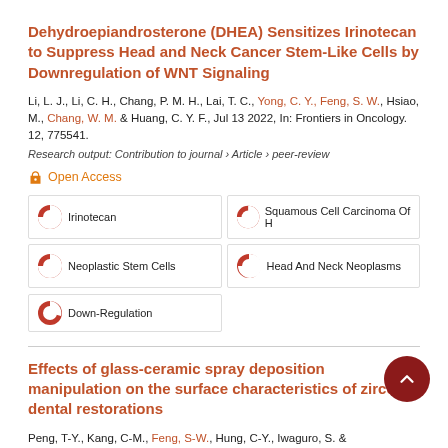Dehydroepiandrosterone (DHEA) Sensitizes Irinotecan to Suppress Head and Neck Cancer Stem-Like Cells by Downregulation of WNT Signaling
Li, L. J., Li, C. H., Chang, P. M. H., Lai, T. C., Yong, C. Y., Feng, S. W., Hsiao, M., Chang, W. M. & Huang, C. Y. F., Jul 13 2022, In: Frontiers in Oncology. 12, 775541.
Research output: Contribution to journal › Article › peer-review
Open Access
Irinotecan
Squamous Cell Carcinoma Of H
Neoplastic Stem Cells
Head And Neck Neoplasms
Down-Regulation
Effects of glass-ceramic spray deposition manipulation on the surface characteristics of zirconia dental restorations
Peng, T-Y., Kang, C-M., Feng, S-W., Hung, C-Y., Iwaguro, S. &